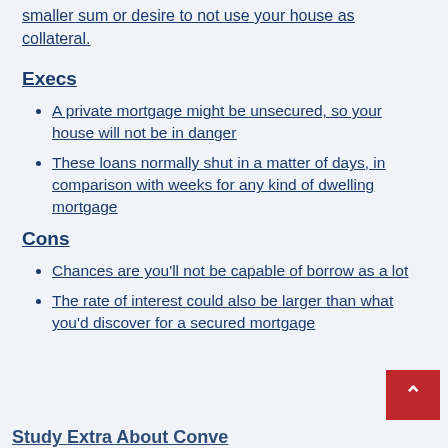smaller sum or desire to not use your house as collateral.
Execs
A private mortgage might be unsecured, so your house will not be in danger
These loans normally shut in a matter of days, in comparison with weeks for any kind of dwelling mortgage
Cons
Chances are you'll not be capable of borrow as a lot
The rate of interest could also be larger than what you'd discover for a secured mortgage
Study Extra About Conve...Possibility...